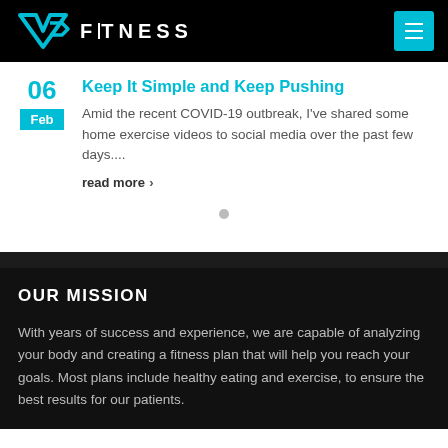V2 FITNESS
Keep It Simple and Keep Pushing
Amid the recent COVID-19 outbreak, I've shared some home exercise videos to social media over the past few days....
read more >
OUR MISSION
With years of success and experience, we are capable of analyzing your body and creating a fitness plan that will help you reach your goals. Most plans include healthy eating and exercise, to ensure the best results for our patients.